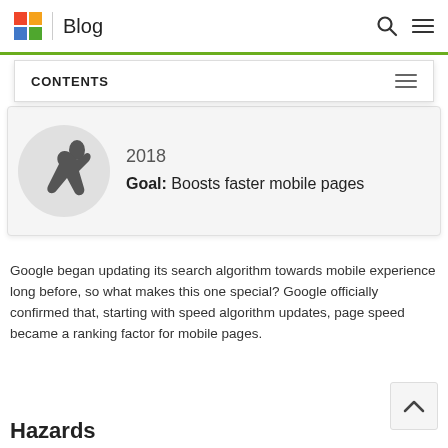Blog
CONTENTS
[Figure (illustration): Circular icon with dark stylized human figure / running illustration on light grey background, with year '2018' and 'Goal: Boosts faster mobile pages' text beside it]
Google began updating its search algorithm towards mobile experience long before, so what makes this one special? Google officially confirmed that, starting with speed algorithm updates, page speed became a ranking factor for mobile pages.
Hazards